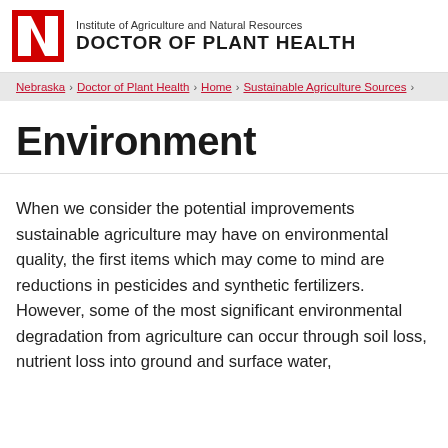Institute of Agriculture and Natural Resources DOCTOR OF PLANT HEALTH
Nebraska › Doctor of Plant Health › Home › Sustainable Agriculture Sources ›
Environment
When we consider the potential improvements sustainable agriculture may have on environmental quality, the first items which may come to mind are reductions in pesticides and synthetic fertilizers. However, some of the most significant environmental degradation from agriculture can occur through soil loss, nutrient loss into ground and surface water,